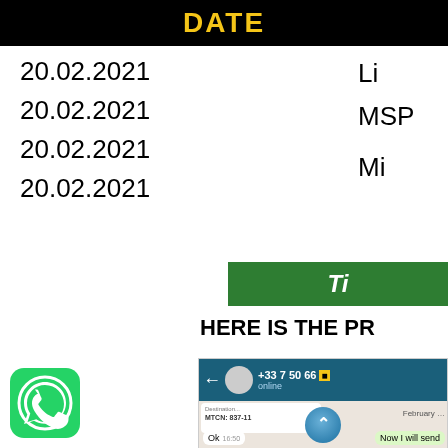DATE
| DATE |  |
| --- | --- |
| 20.02.2021 | Li... |
| 20.02.2021 | MSP... |
| 20.02.2021 | ... |
| 20.02.2021 | Mi... |
Tic...
HERE IS THE PR...
[Figure (screenshot): WhatsApp conversation screenshot showing phone number +33 7 50 66 (partially obscured), online status, a Western Union receipt with MTCN: 837-11, a message 'Now I will send', 'Ok' reply at 16:50, and a scroll-up button]
[Figure (logo): WhatsApp green app icon]